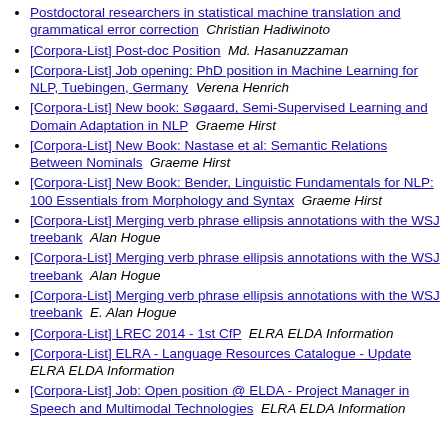Postdoctoral researchers in statistical machine translation and grammatical error correction  Christian Hadiwinoto
[Corpora-List] Post-doc Position  Md. Hasanuzzaman
[Corpora-List] Job opening: PhD position in Machine Learning for NLP, Tuebingen, Germany  Verena Henrich
[Corpora-List] New book: Søgaard, Semi-Supervised Learning and Domain Adaptation in NLP  Graeme Hirst
[Corpora-List] New Book: Nastase et al: Semantic Relations Between Nominals  Graeme Hirst
[Corpora-List] New Book: Bender, Linguistic Fundamentals for NLP: 100 Essentials from Morphology and Syntax  Graeme Hirst
[Corpora-List] Merging verb phrase ellipsis annotations with the WSJ treebank  Alan Hogue
[Corpora-List] Merging verb phrase ellipsis annotations with the WSJ treebank  Alan Hogue
[Corpora-List] Merging verb phrase ellipsis annotations with the WSJ treebank  E. Alan Hogue
[Corpora-List] LREC 2014 - 1st CfP  ELRA ELDA Information
[Corpora-List] ELRA - Language Resources Catalogue - Update  ELRA ELDA Information
[Corpora-List] Job: Open position @ ELDA - Project Manager in Speech and Multimodal Technologies  ELRA ELDA Information